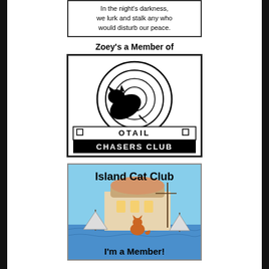[Figure (illustration): Partial text image with words: 'In the night's darkness, we lurk and stalk any who would disturb our peace.']
Zoey's a Member of
[Figure (logo): OTail Chasers Club logo with cat silhouette in spiral swirl design, bordered black and white box with text 'OTAIL' and 'CHASERS CLUB']
[Figure (illustration): Island Cat Club membership badge showing an orange cat sitting by waterfront with sailboats and a round building. Text reads 'Island Cat Club' at top and 'I'm a Member!' at bottom.]